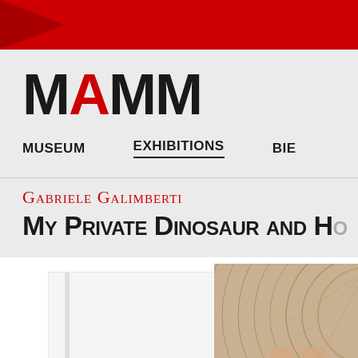[Figure (screenshot): Red top navigation bar with arrow chevron design]
[Figure (logo): MAMM museum logo in large bold black letters with red A]
MUSEUM    EXHIBITIONS    BIE...
Gabriele Galimberti
My Private Dinosaur and Ho...
[Figure (photo): Two exhibition photographs: a white door on the left and a wood cross-section on the right]